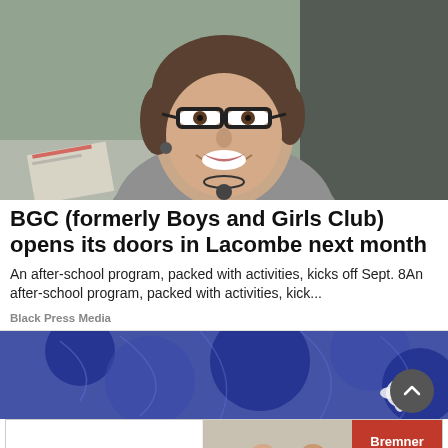[Figure (photo): Smiling woman with short hair and glasses, wearing a grey top and necklace, photographed indoors]
BGC (formerly Boys and Girls Club) opens its doors in Lacombe next month
An after-school program, packed with activities, kicks off Sept. 8An after-school program, packed with activities, kick...
Black Press Media
[Figure (photo): Blue lace fabric with a white flower]
[Figure (photo): Sims Furniture advertisement showing two people sitting on a couch, with text: Bremner Street, Red Deer]